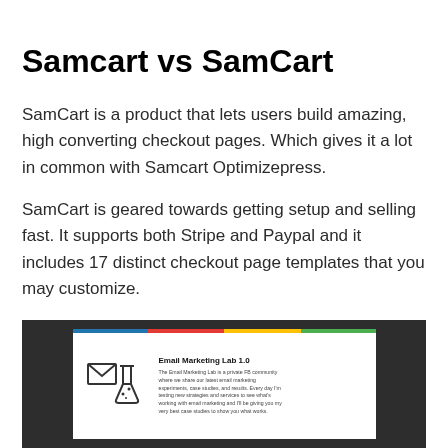Samcart vs SamCart
SamCart is a product that lets users build amazing, high converting checkout pages. Which gives it a lot in common with Samcart Optimizepress.
SamCart is geared towards getting setup and selling fast. It supports both Stripe and Paypal and it includes 17 distinct checkout page templates that you may customize.
[Figure (screenshot): Screenshot of Email Marketing Lab 1.0 promotional card showing an envelope and flask icon on a dark background with colored top border, with text describing it as a private FB community for email marketing experiments.]